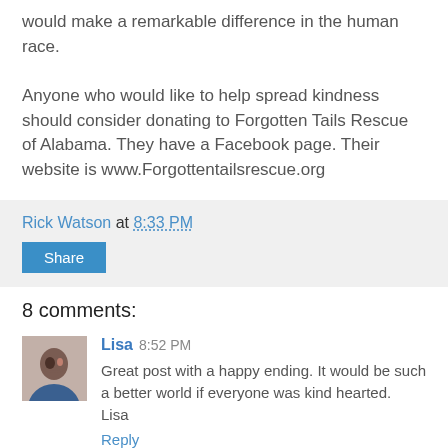would make a remarkable difference in the human race.
Anyone who would like to help spread kindness should consider donating to Forgotten Tails Rescue of Alabama. They have a Facebook page. Their website is www.Forgottentailsrescue.org
Rick Watson at 8:33 PM
Share
8 comments:
Lisa 8:52 PM
Great post with a happy ending. It would be such a better world if everyone was kind hearted.
Lisa
Reply